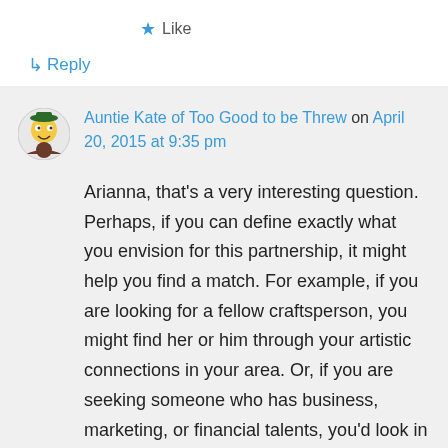★ Like
↳ Reply
Auntie Kate of Too Good to be Threw on April 20, 2015 at 9:35 pm
Arianna, that's a very interesting question. Perhaps, if you can define exactly what you envision for this partnership, it might help you find a match. For example, if you are looking for a fellow craftsperson, you might find her or him through your artistic connections in your area. Or, if you are seeking someone who has business, marketing, or financial talents, you'd look in